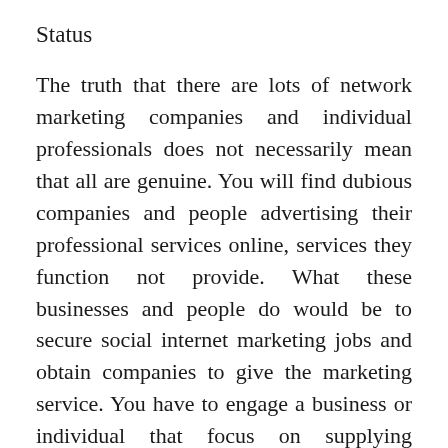Status
The truth that there are lots of network marketing companies and individual professionals does not necessarily mean that all are genuine. You will find dubious companies and people advertising their professional services online, services they function not provide. What these businesses and people do would be to secure social internet marketing jobs and obtain companies to give the marketing service. You have to engage a business or individual that focus on supplying network marketing like a service.
Services
Engaging a social internet marketing company to handle your campaigns on social networking sites does not necessarily mean abdicating your legal rights to